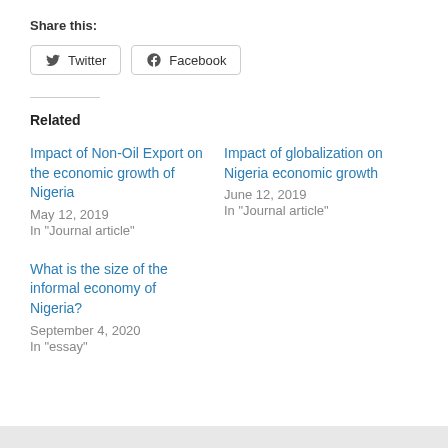Share this:
Twitter  Facebook
Related
Impact of Non-Oil Export on the economic growth of Nigeria
May 12, 2019
In "Journal article"
Impact of globalization on Nigeria economic growth
June 12, 2019
In "Journal article"
What is the size of the informal economy of Nigeria?
September 4, 2020
In "essay"